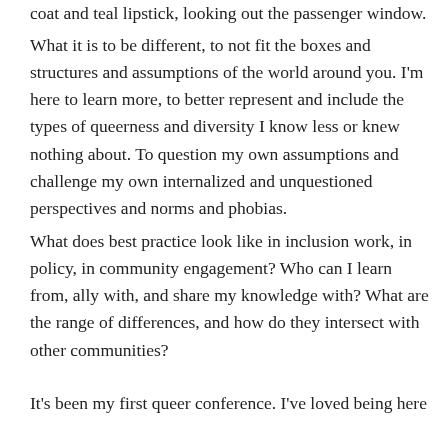coat and teal lipstick, looking out the passenger window.
What it is to be different, to not fit the boxes and structures and assumptions of the world around you. I'm here to learn more, to better represent and include the types of queerness and diversity I know less or knew nothing about. To question my own assumptions and challenge my own internalized and unquestioned perspectives and norms and phobias.
What does best practice look like in inclusion work, in policy, in community engagement? Who can I learn from, ally with, and share my knowledge with? What are the range of differences, and how do they intersect with other communities?
It's been my first queer conference. I've loved being here and want to go on, hopeful fellow-hood of each one self...